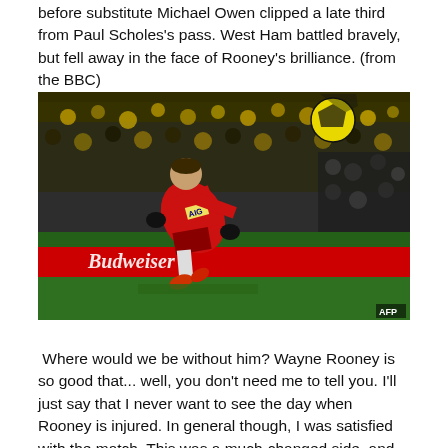before substitute Michael Owen clipped a late third from Paul Scholes's pass. West Ham battled bravely, but fell away in the face of Rooney's brilliance. (from the BBC)
[Figure (photo): Wayne Rooney in Manchester United red kit striking a ball in mid-air during a match, with a crowd in the background and a Budweiser advertising hoarding visible. AFP watermark in bottom-right corner.]
Where would we be without him? Wayne Rooney is so good that... well, you don't need me to tell you. I'll just say that I never want to see the day when Rooney is injured. In general though, I was satisfied with the match. This was a much-changed side, and the rotation players like Gibson and Foster stepped in quite nicely. Sir Alex's right team...